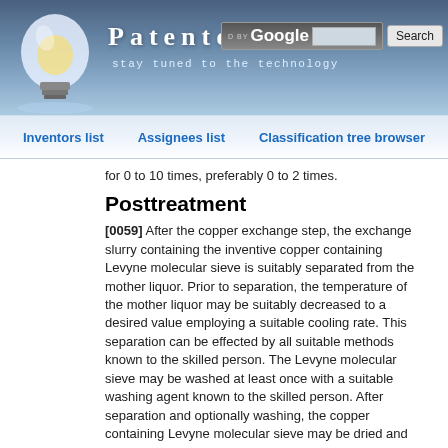[Figure (screenshot): Patentdocs website header with lightbulb logo, site title 'Patentdocs', subtitle 'stay tuned to the technology', and a Google search bar with Search button]
Inventors list   Assignees list   Classification tree browser
for 0 to 10 times, preferably 0 to 2 times.
Posttreatment
[0059] After the copper exchange step, the exchange slurry containing the inventive copper containing Levyne molecular sieve is suitably separated from the mother liquor. Prior to separation, the temperature of the mother liquor may be suitably decreased to a desired value employing a suitable cooling rate. This separation can be effected by all suitable methods known to the skilled person. The Levyne molecular sieve may be washed at least once with a suitable washing agent known to the skilled person. After separation and optionally washing, the copper containing Levyne molecular sieve may be dried and calcined.
Shape